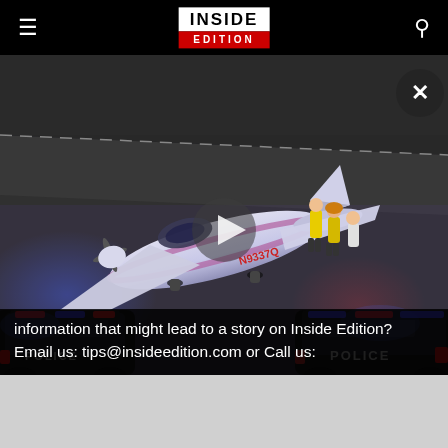INSIDE EDITION
[Figure (screenshot): Aerial news footage screenshot showing a small white propeller airplane (tail number N9337Q) that has made an emergency landing on a road/highway. Two police cars with flashing lights are visible in the foreground. Emergency responders in yellow gear are standing near the plane. A video play button overlay is visible in the center. A close (X) button is at the top right.]
information that might lead to a story on Inside Edition? Email us: tips@insideedition.com or Call us: